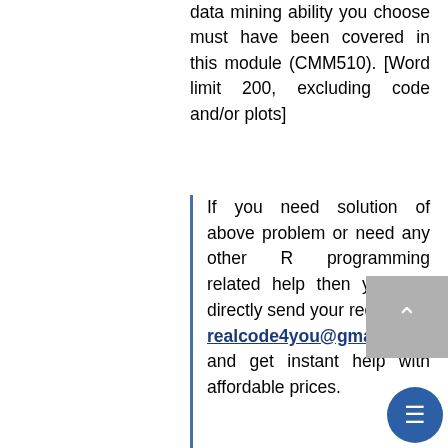data mining ability you choose must have been covered in this module (CMM510). [Word limit 200, excluding code and/or plots]
If you need solution of above problem or need any other R programming related help then you can directly send your request at realcode4you@gmail.com and get instant help with affordable prices.